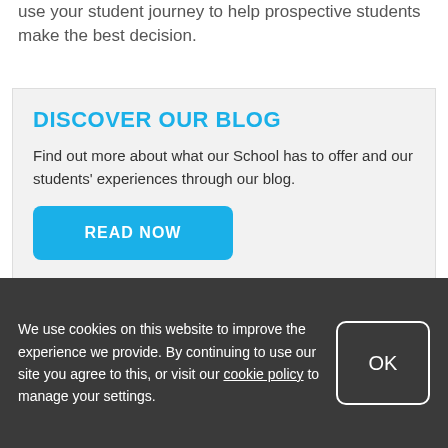use your student journey to help prospective students make the best decision.
DISCOVER OUR BLOG
Find out more about what our School has to offer and our students' experiences through our blog.
READ NOW
7. Opportunities to travel abroad
We use cookies on this website to improve the experience we provide. By continuing to use our site you agree to this, or visit our cookie policy to manage your settings.
OK